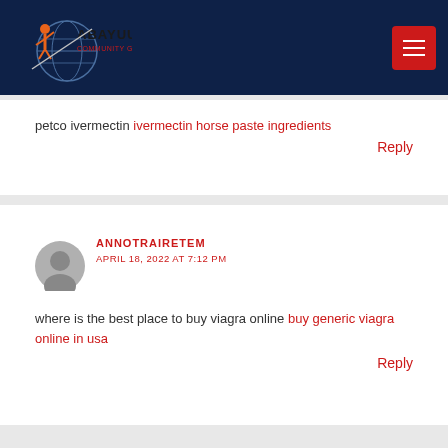Abayuuti Community Group
petco ivermectin ivermectin horse paste ingredients
Reply
ANNOTRAIRETEM
APRIL 18, 2022 AT 7:12 PM
where is the best place to buy viagra online buy generic viagra online in usa
Reply